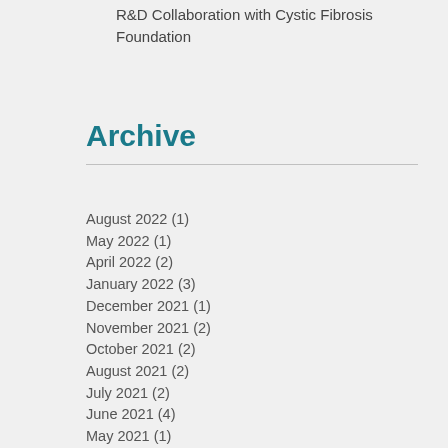R&D Collaboration with Cystic Fibrosis Foundation
Archive
August 2022 (1)
May 2022 (1)
April 2022 (2)
January 2022 (3)
December 2021 (1)
November 2021 (2)
October 2021 (2)
August 2021 (2)
July 2021 (2)
June 2021 (4)
May 2021 (1)
April 2021 (1)
March 2021 (2)
February 2021 (4)
January 2021 (3)
December 2020 (1)